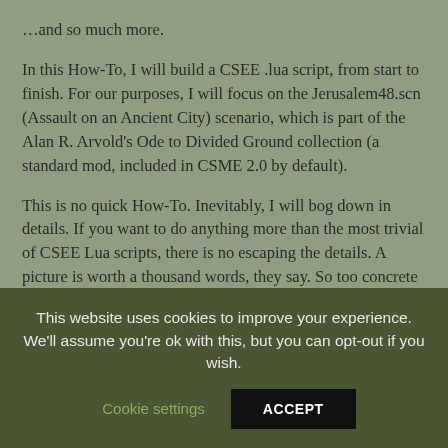…and so much more.
In this How-To, I will build a CSEE .lua script, from start to finish. For our purposes, I will focus on the Jerusalem48.scn (Assault on an Ancient City) scenario, which is part of the Alan R. Arvold's Ode to Divided Ground collection (a standard mod, included in CSME 2.0 by default).
This is no quick How-To. Inevitably, I will bog down in details. If you want to do anything more than the most trivial of CSEE Lua scripts, there is no escaping the details. A picture is worth a thousand words, they say. So too concrete examples.
This website uses cookies to improve your experience. We'll assume you're ok with this, but you can opt-out if you wish. Cookie settings  ACCEPT